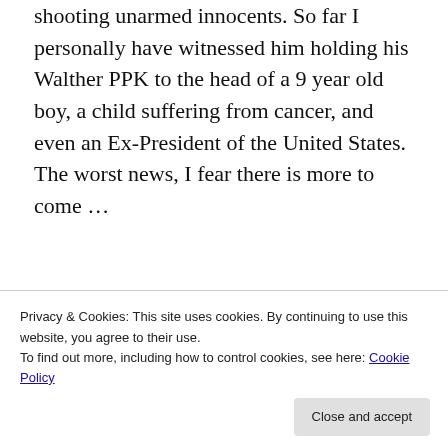shooting unarmed innocents. So far I personally have witnessed him holding his Walther PPK to the head of a 9 year old boy, a child suffering from cancer, and even an Ex-President of the United States. The worst news, I fear there is more to come …
[Figure (infographic): Advertisement banner with bold text: 'Getting your team on the same page is easy. And free.' with four avatar/profile photo circles below.]
Privacy & Cookies: This site uses cookies. By continuing to use this website, you agree to their use.
To find out more, including how to control cookies, see here: Cookie Policy